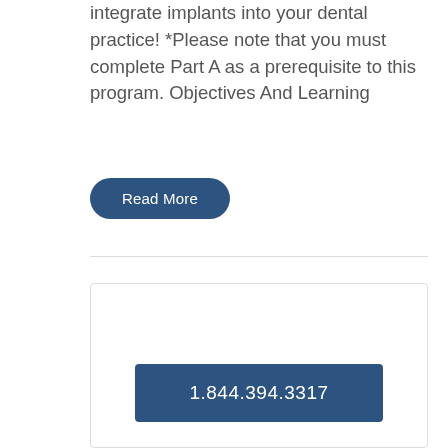integrate implants into your dental practice! *Please note that you must complete Part A as a prerequisite to this program. Objectives And Learning
Read More
1.844.394.3317